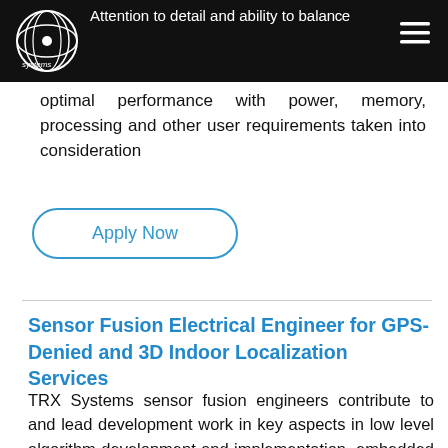Attention to detail and ability to balance optimal performance with power, memory, processing and other user requirements taken into consideration
optimal performance with power, memory, processing and other user requirements taken into consideration
Apply Now
Sensor Fusion Electrical Engineer for GPS-Denied and 3D Indoor Localization Services
TRX Systems sensor fusion engineers contribute to and lead development work in key aspects in low level algorithm development and implementation, embedded programming, and electrical and electro-